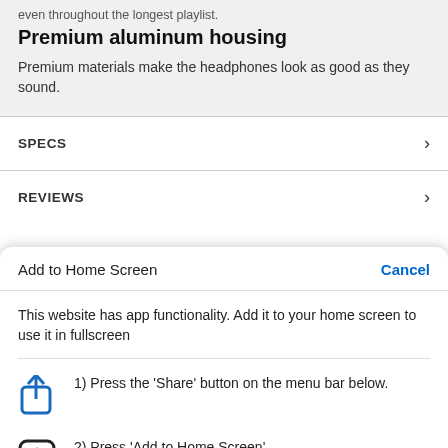even throughout the longest playlist.
Premium aluminum housing
Premium materials make the headphones look as good as they sound.
SPECS
REVIEWS
Add to Home Screen
Cancel
This website has app functionality. Add it to your home screen to use it in fullscreen
1) Press the 'Share' button on the menu bar below.
2) Press 'Add to Home Screen'.